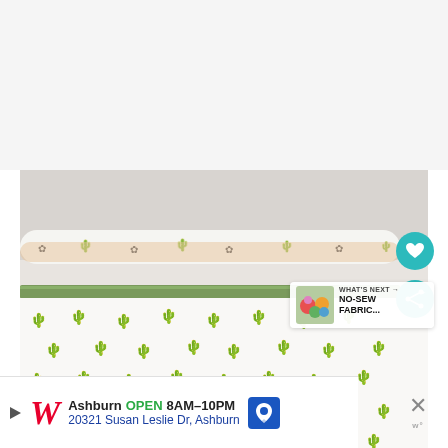[Figure (photo): Photo of folded fabric rolls with cactus print patterns in various colors (orange, teal, pink, gray) on white background, with a green bias tape strip across the middle. Rolled fabric at top has dark cactus silhouettes on white.]
[Figure (infographic): What's Next overlay with thumbnail image of colorful fabric flowers and text 'WHAT'S NEXT -> NO-SEW FABRIC...']
[Figure (infographic): Advertisement bar for Walgreens: 'Ashburn OPEN 8AM-10PM, 20321 Susan Leslie Dr, Ashburn' with Walgreens logo and map pin icon. Close button (X) on right side.]